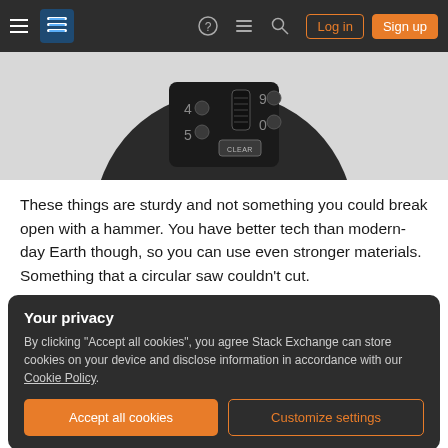Stack Exchange navigation bar with Log in and Sign up buttons
[Figure (photo): Close-up photo of a combination lock keypad, dark/black color, showing number buttons including 4, 5, 9, 0 and a CLEAR button]
These things are sturdy and not something you could break open with a hammer. You have better tech than modern-day Earth though, so you can use even stronger materials. Something that a circular saw couldn't cut.
Your privacy
By clicking "Accept all cookies", you agree Stack Exchange can store cookies on your device and disclose information in accordance with our Cookie Policy.
Accept all cookies   Customize settings
anyone else). I'd put up several boxes so, if